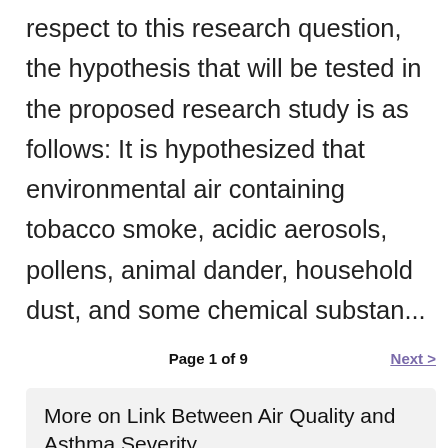respect to this research question, the hypothesis that will be tested in the proposed research study is as follows: It is hypothesized that environmental air containing tobacco smoke, acidic aerosols, pollens, animal dander, household dust, and some chemical substan...
Page 1 of 9
Next >
More on Link Between Air Quality and Asthma Severity...
Link Between Air Quality...